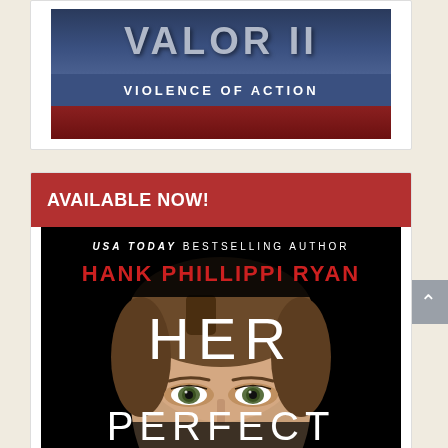[Figure (photo): Top portion of a book cover for 'VALOR II: Violence of Action' showing dark blue/navy background with large gray title text 'VALOR' and subtitle 'VIOLENCE OF ACTION' in white on a blue banner, with a red section below]
AVAILABLE NOW!
[Figure (photo): Book cover for 'Her Perfect' by Hank Phillippi Ryan (USA Today Bestselling Author). Black background with a woman's face visible from the eyes up, blonde hair. Title 'HER' in large white text overlaying the face, and 'PERFECT' partially visible at the bottom. Author name in red capital letters.]